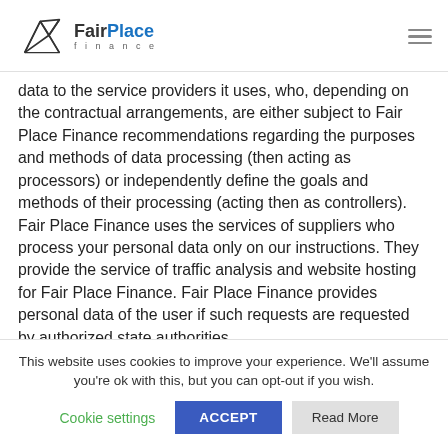FairPlace finance
data to the service providers it uses, who, depending on the contractual arrangements, are either subject to Fair Place Finance recommendations regarding the purposes and methods of data processing (then acting as processors) or independently define the goals and methods of their processing (acting then as controllers). Fair Place Finance uses the services of suppliers who process your personal data only on our instructions. They provide the service of traffic analysis and website hosting for Fair Place Finance. Fair Place Finance provides personal data of the user if such requests are requested by authorized state authorities.
This website uses cookies to improve your experience. We'll assume you're ok with this, but you can opt-out if you wish.
Cookie settings   ACCEPT   Read More